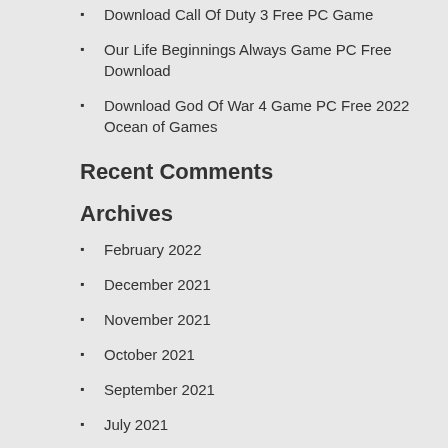Download Call Of Duty 3 Free PC Game
Our Life Beginnings Always Game PC Free Download
Download God Of War 4 Game PC Free 2022 Ocean of Games
Recent Comments
Archives
February 2022
December 2021
November 2021
October 2021
September 2021
July 2021
June 2021
May 2021